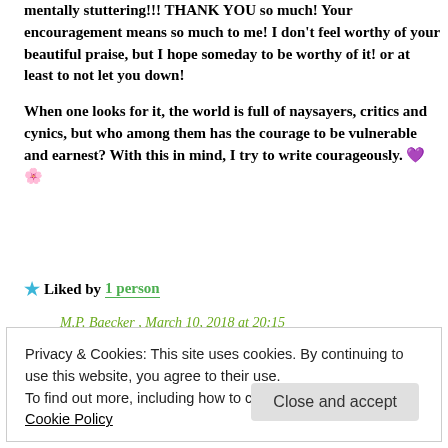mentally stuttering!!! THANK YOU so much! Your encouragement means so much to me! I don't feel worthy of your beautiful praise, but I hope someday to be worthy of it! or at least to not let you down!

When one looks for it, the world is full of naysayers, critics and cynics, but who among them has the courage to be vulnerable and earnest? With this in mind, I try to write courageously. 💜🌸
★ Liked by 1 person
M.P. Baecker , March 10, 2018 at 20:15
Privacy & Cookies: This site uses cookies. By continuing to use this website, you agree to their use.
To find out more, including how to control cookies, see here: Cookie Policy
Close and accept